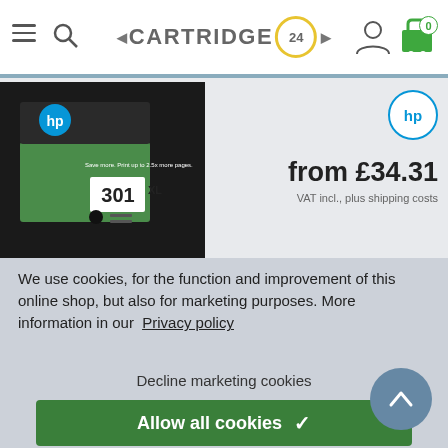CARTRIDGE 24 - navigation header with hamburger, search, logo, user and cart icons
[Figure (photo): HP 301XL black ink cartridge product image on dark background]
from £34.31
VAT incl., plus shipping costs
We use cookies, for the function and improvement of this online shop, but also for marketing purposes. More information in our Privacy policy
Decline marketing cookies
Allow all cookies ✓